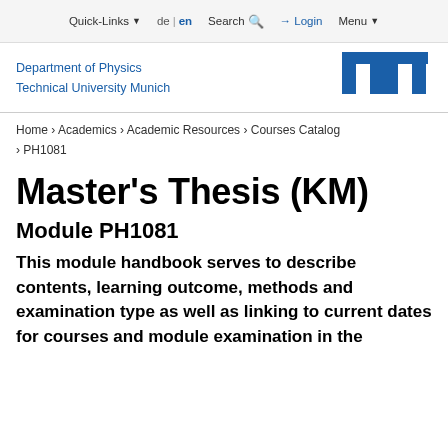Quick-Links  de | en  Search  Login  Menu
[Figure (logo): TUM logo — stylized letter TUM in blue]
Department of Physics
Technical University Munich
Home › Academics › Academic Resources › Courses Catalog › PH1081
Master's Thesis (KM)
Module PH1081
This module handbook serves to describe contents, learning outcome, methods and examination type as well as linking to current dates for courses and module examination in the